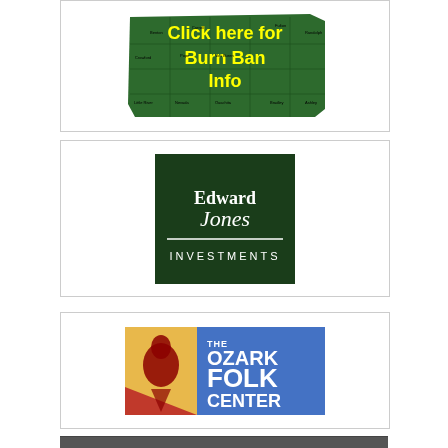[Figure (illustration): Arkansas state map in green with county outlines, overlaid with yellow bold text: 'Click here for Burn Ban Info']
[Figure (logo): Edward Jones Investments logo: dark green square background with white serif text 'Edward Jones' above a horizontal white line and white all-caps text 'INVESTMENTS']
[Figure (logo): The Ozark Folk Center logo: blue rectangle with yellow/red left panel featuring a bird silhouette, white text 'THE OZARK FOLK CENTER' on blue right panel]